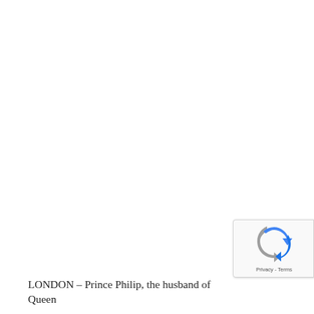[Figure (other): reCAPTCHA badge with blue and grey arrow icon and Privacy - Terms text]
LONDON – Prince Philip, the husband of Queen